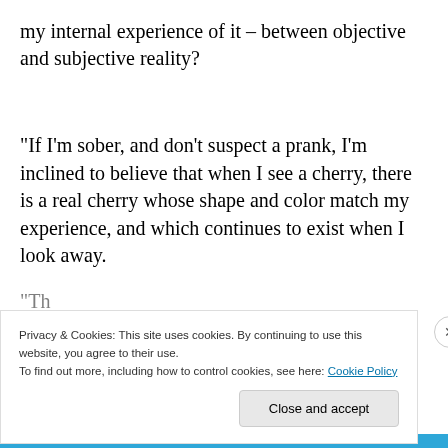my internal experience of it – between objective and subjective reality?
“If I’m sober, and don’t suspect a prank, I’m inclined to believe that when I see a cherry, there is a real cherry whose shape and color match my experience, and which continues to exist when I look away.
“Th...
Privacy & Cookies: This site uses cookies. By continuing to use this website, you agree to their use.
To find out more, including how to control cookies, see here: Cookie Policy